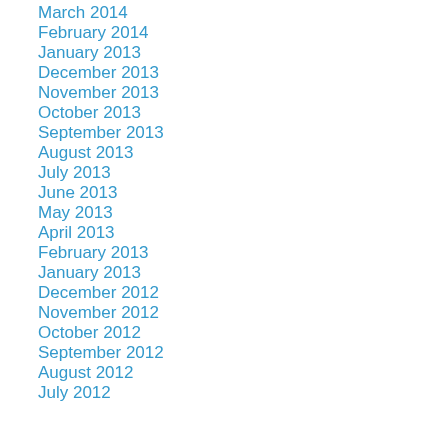March 2014
February 2014
January 2013
December 2013
November 2013
October 2013
September 2013
August 2013
July 2013
June 2013
May 2013
April 2013
February 2013
January 2013
December 2012
November 2012
October 2012
September 2012
August 2012
July 2012